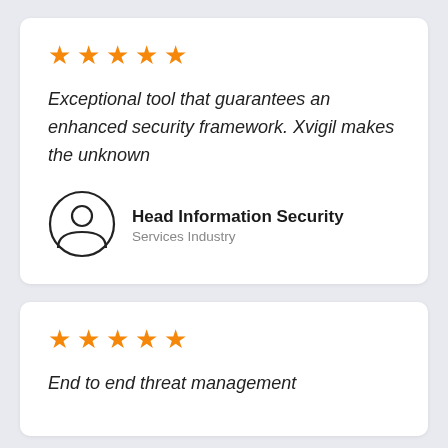[Figure (other): Five orange star rating icons]
Exceptional tool that guarantees an enhanced security framework. Xvigil makes the unknown
[Figure (illustration): Generic user avatar icon inside a circle]
Head Information Security
Services Industry
[Figure (other): Five orange star rating icons]
End to end threat management